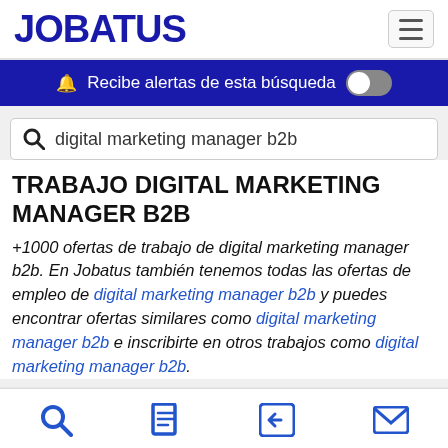JOBATUS
Recibe alertas de esta búsqueda
digital marketing manager b2b
TRABAJO DIGITAL MARKETING MANAGER B2B
+1000 ofertas de trabajo de digital marketing manager b2b. En Jobatus también tenemos todas las ofertas de empleo de digital marketing manager b2b y puedes encontrar ofertas similares como digital marketing manager b2b e inscribirte en otros trabajos como digital marketing manager b2b.